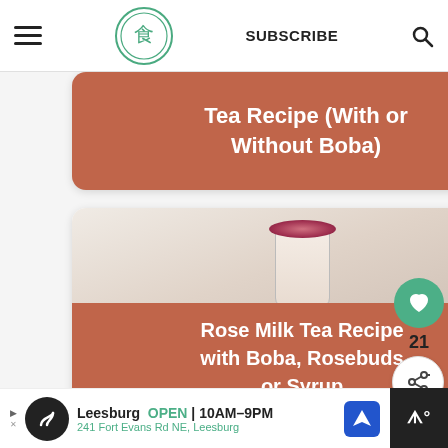SUBSCRIBE
[Figure (screenshot): Website screenshot of a food/recipe blog. Shows header with hamburger menu, circular green logo, SUBSCRIBE text, and search icon.]
Tea Recipe (With or Without Boba)
[Figure (photo): Photo of a milk tea drink in a white cup topped with pink rose petals/buds, with card title: Rose Milk Tea Recipe with Boba, Rosebuds or Syrup]
Rose Milk Tea Recipe with Boba, Rosebuds or Syrup
21
WHAT'S NEXT → How to Make Bubble Tea...
Leesburg OPEN | 10AM–9PM 241 Fort Evans Rd NE, Leesburg